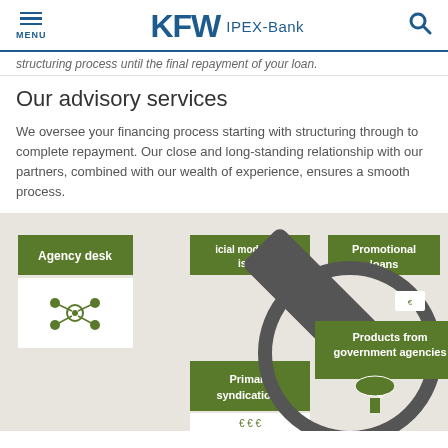MENU | KFW IPEX-Bank
structuring process until the final repayment of your loan.
Our advisory services
We oversee your financing process starting with structuring through to complete repayment. Our close and long-standing relationship with our partners, combined with our wealth of experience, ensures a smooth process.
[Figure (infographic): Circular infographic showing advisory services including Agency desk, Financial modelling advisory, Promotional loans, Primary syndications, and Products from government agencies, overlaid with a magnifying glass graphic.]